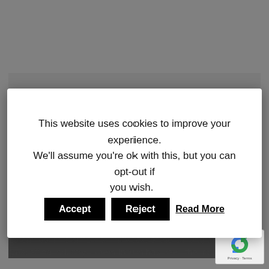[Figure (screenshot): Grayed-out webpage background with a dark content area and Lorem ipsum text partially visible at the bottom]
This website uses cookies to improve your experience. We'll assume you're ok with this, but you can opt-out if you wish. Accept Reject Read More
[Figure (logo): reCAPTCHA badge with recycling-arrows icon and Privacy - Terms text]